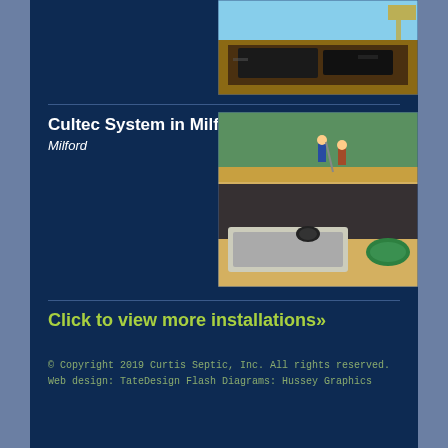[Figure (photo): Aerial/overhead view of a septic system installation with black liner panels on excavated ground]
Cultec System in Milford
Milford
[Figure (photo): Construction site showing septic tank installation in Milford with workers and excavation equipment visible]
Click to view more installations»
© Copyright 2019 Curtis Septic, Inc. All rights reserved. Web design: TateDesign Flash Diagrams: Hussey Graphics